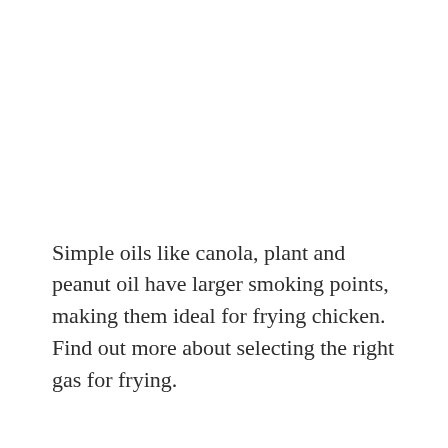Simple oils like canola, plant and peanut oil have larger smoking points, making them ideal for frying chicken. Find out more about selecting the right gas for frying.